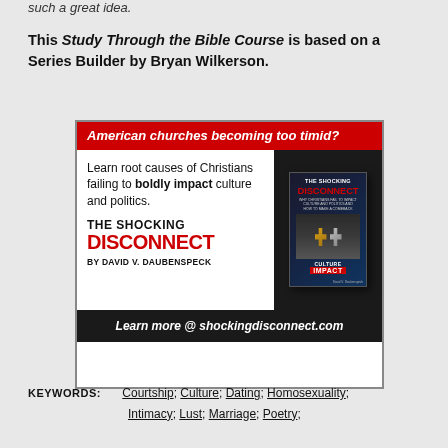such a great idea.
This Study Through the Bible Course is based on a Series Builder by Bryan Wilkerson.
[Figure (illustration): Advertisement for 'The Shocking Disconnect' by David V. Daubenspeck. Red header reads 'American churches becoming too timid?'. Body text: 'Learn root causes of Christians failing to boldly impact culture and politics. THE SHOCKING DISCONNECT BY DAVID V. DAUBENSPECK'. Book cover image shown on right. Footer: 'Learn more @ shockingdisconnect.com']
KEYWORDS: Courtship; Culture; Dating; Homosexuality; Intimacy; Lust; Marriage; Poetry;